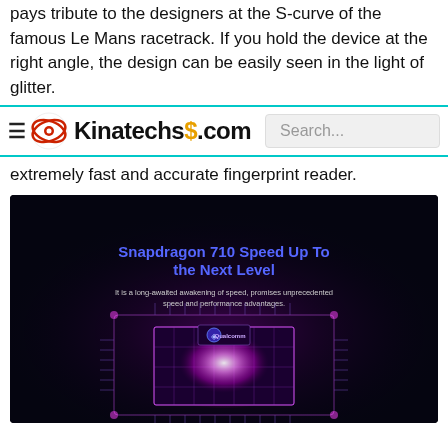pays tribute to the designers at the S-curve of the famous Le Mans racetrack. If you hold the device at the right angle, the design can be easily seen in the light of glitter.
Kinatechs.com | Search...
extremely fast and accurate fingerprint reader.
[Figure (photo): Qualcomm Snapdragon 710 chip promotional image on black background with purple/magenta glowing circuit board. Text reads: 'Snapdragon 710 Speed Up To the Next Level. It is a long-awaited awakening of speed, promises unprecedented speed and performance advantages.']